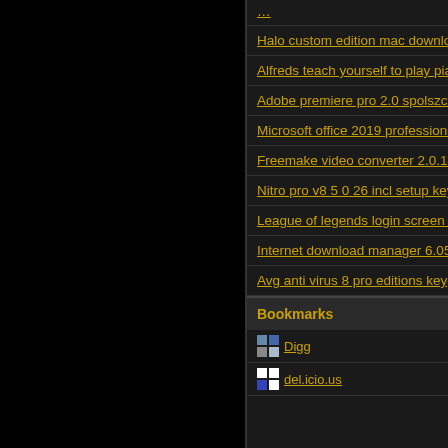Halo custom edition mac download
Alfreds teach yourself to play piano
Adobe premiere pro 2.0 spolszcze
Microsoft office 2019 professional
Freemake video converter 2.0.14
Nitro pro v8 5 0 26 incl setup keyb
League of legends login screen bl
Internet download manager 6.05 k
Avg anti virus 8 pro editions keyge
Bookmarks
Digg
del.icio.us